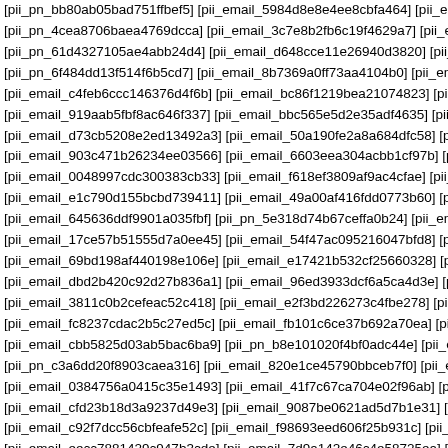[pii_pn_bb80ab05bad751ffbef5] [pii_email_5984d8e8e4ee8cbfa464] [pii_email_13d4...
[pii_pn_4cea8706baea4769dcca] [pii_email_3c7e8b2fb6c19f4629a7] [pii_email_999...
[pii_pn_61d4327105ae4abb24d4] [pii_email_d648cce11e26940d3820] [pii_email_cd...
[pii_pn_6f484dd13f514f6b5cd7] [pii_email_8b7369a0ff73aa4104b0] [pii_email_3407...
[pii_email_c4feb6ccc146376d4f6b] [pii_email_bc86f1219bea21074823] [pii_email_2b...
[pii_email_919aab5fbf8ac646f337] [pii_email_bbc565e5d2e35adf4635] [pii_pn_795b...
[pii_email_d73cb5208e2ed13492a3] [pii_email_50a190fe2a8a684dfc58] [pii_pn_8a3...
[pii_email_903c471b26234ee03566] [pii_email_6603eea304acbb1cf97b] [pii_email_...
[pii_email_0048997cdc300383cb33] [pii_email_f618ef3809af9ac4cfae] [pii_pn_f76e0...
[pii_email_e1c790d155bcbd739411] [pii_email_49a00af416fdd0773b60] [pii_email_3...
[pii_email_645636ddf9901a035fbf] [pii_pn_5e318d74b67ceffa0b24] [pii_email_2d44...
[pii_email_17ce57b51555d7a0ee45] [pii_email_54f47ac095216047bfd8] [pii_email_d...
[pii_email_69bd198af440198e106e] [pii_email_e17421b532cf25660328] [pii_email_3...
[pii_email_dbd2b420c92d27b836a1] [pii_email_96ed3933dcf6a5ca4d3e] [pii_pn_598...
[pii_email_3811c0b2cefeac52c418] [pii_email_e2f3bd226273c4fbe278] [pii_email_b3...
[pii_email_fc8237cdac2b5c27ed5c] [pii_email_fb101c6ce37b692a70ea] [pii_pn_b5e...
[pii_email_cbb5825d03ab5bac6ba9] [pii_pn_b8e101020f4bf0adc44e] [pii_email_c8b...
[pii_pn_c3a6dd20f8903caea316] [pii_email_820e1ce45790bbceb7f0] [pii_email_e66...
[pii_email_0384756a0415c35e1493] [pii_email_41f7c67ca704e02f96ab] [pii_email_e...
[pii_email_cfd23b18d3a9237d49e3] [pii_email_9087be0621ad5d7b1e31] [pii_email_...
[pii_email_c92f7dcc56cbfeafe52c] [pii_email_f98693eed606f25b931c] [pii_pn_eda8c...
[pii_email_eecc7881429c947b3cde] [pii_email_7d9a142e46c4e58725ea] [pii_pn_8b...
[pii_email_e1694ef51272d02602fc] [pii_email_e72f1b5524b6e6e9e040] [pii_pn_5b...